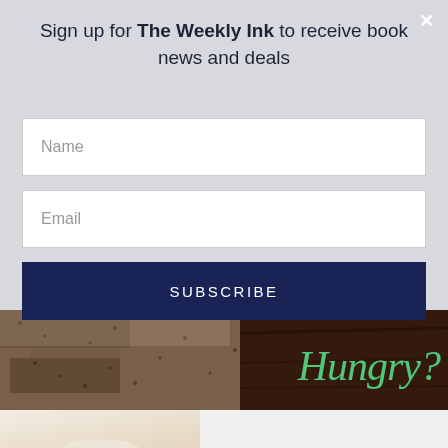Sign up for The Weekly Ink to receive book news and deals
Name
Email
SUBSCRIBE
[Figure (photo): Banner image with a close-up of a bread/grain texture on the left and dark wood on the right with italic green text reading 'Hungry?']
[Figure (photo): Photo of a blonde woman in a white knit sweater on the left, with text 'PUBLICITY SERVICES' on the right against a light lavender background]